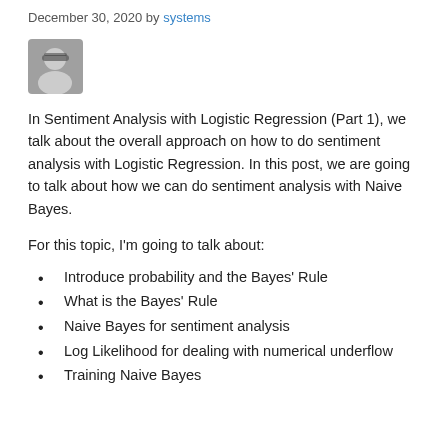December 30, 2020 by systems
[Figure (photo): Author avatar photo showing a person wearing sunglasses]
In Sentiment Analysis with Logistic Regression (Part 1), we talk about the overall approach on how to do sentiment analysis with Logistic Regression. In this post, we are going to talk about how we can do sentiment analysis with Naive Bayes.
For this topic, I'm going to talk about:
Introduce probability and the Bayes' Rule
What is the Bayes' Rule
Naive Bayes for sentiment analysis
Log Likelihood for dealing with numerical underflow
Training Naive Bayes